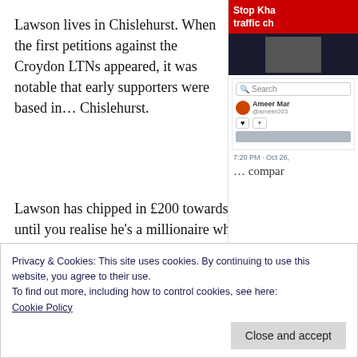Lawson lives in Chislehurst. When the first petitions against the Croydon LTNs appeared, it was notable that early supporters were based in… Chislehurst.
Lawson has chipped in £200 towards the anti-LTN campaign, which sounds generous until you realise he's a millionaire who has made serious money from pr years.
[Figure (screenshot): Partial screenshot of a Twitter/social media sidebar showing a red banner with 'Stop Kha traffic ch', a search box, user avatar for 'Ameer Mar', heart and plus buttons, timestamp '7:20 PM · Oct 26,' and partial text '... compar']
Privacy & Cookies: This site uses cookies. By continuing to use this website, you agree to their use.
To find out more, including how to control cookies, see here:
Cookie Policy
Close and accept